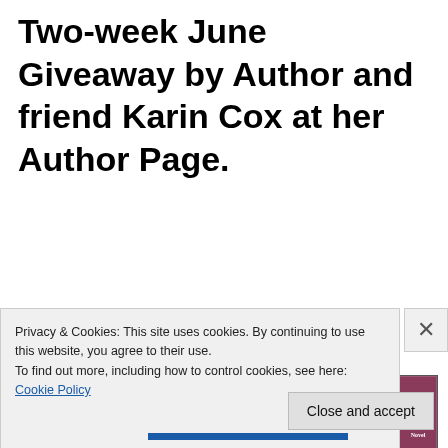Two-week June Giveaway by Author and friend Karin Cox at her Author Page.
[Figure (illustration): Promotional banner for a book giveaway event. Dark purple background with text: '"Share & share a-like" books & bling & angel things bonanza' with a URL and 'June 11-26'. Right side shows collaged book covers including 'Cage Life', 'Harrison', 'Guardians', 'Romance Novel', a dark figure, a male figure, 'Dead is the New Black', and 'ICE Blue'. A feather illustration appears on the lower left. Attribution text 'KARIN COX' visible at bottom.]
Privacy & Cookies: This site uses cookies. By continuing to use this website, you agree to their use.
To find out more, including how to control cookies, see here: Cookie Policy